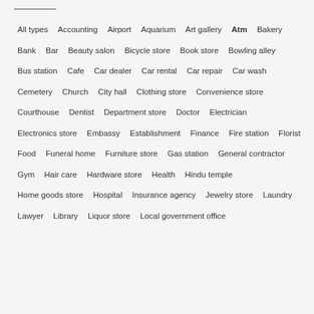All types
Accounting
Airport
Aquarium
Art gallery
Atm
Bakery
Bank
Bar
Beauty salon
Bicycle store
Book store
Bowling alley
Bus station
Cafe
Car dealer
Car rental
Car repair
Car wash
Cemetery
Church
City hall
Clothing store
Convenience store
Courthouse
Dentist
Department store
Doctor
Electrician
Electronics store
Embassy
Establishment
Finance
Fire station
Florist
Food
Funeral home
Furniture store
Gas station
General contractor
Gym
Hair care
Hardware store
Health
Hindu temple
Home goods store
Hospital
Insurance agency
Jewelry store
Laundry
Lawyer
Library
Liquor store
Local government office